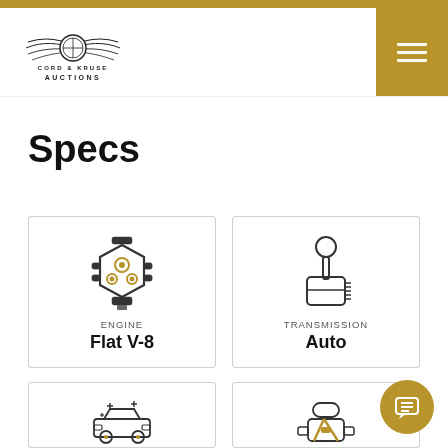Cord & Kruse Auctions
Specs
[Figure (illustration): Engine spec card with engine icon showing Flat V-8]
[Figure (illustration): Transmission spec card with gear shift icon showing Auto]
[Figure (illustration): Partial car exterior/detail spec card (bottom row left)]
[Figure (illustration): Partial interior/seat spec card (bottom row right)]